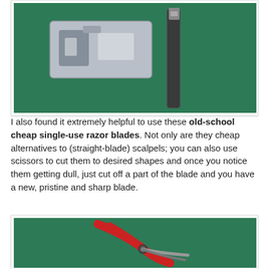[Figure (photo): Photo of an old-school single-use razor blade and a knife/scalpel tool on a green cutting mat background]
I also found it extremely helpful to use these old-school cheap single-use razor blades. Not only are they cheap alternatives to (straight-blade) scalpels; you can also use scissors to cut them to desired shapes and once you notice them getting dull, just cut off a part of the blade and you have a new, pristine and sharp blade.
[Figure (photo): Photo of red-handled scissors/pliers on a green cutting mat background]